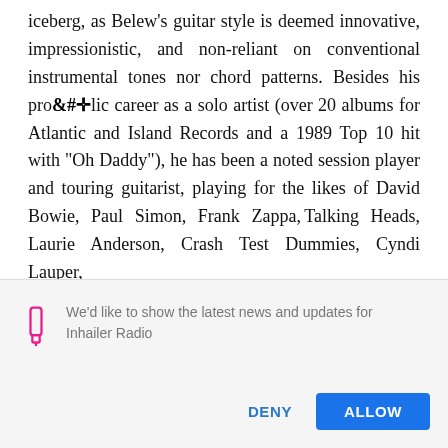iceberg, as Belew's guitar style is deemed innovative, impressionistic, and non-reliant on conventional instrumental tones nor chord patterns. Besides his prolific career as a solo artist (over 20 albums for Atlantic and Island Records and a 1989 Top 10 hit with "Oh Daddy"), he has been a noted session player and touring guitarist, playing for the likes of David Bowie, Paul Simon, Frank Zappa, Talking Heads, Laurie Anderson, Crash Test Dummies, Cyndi Lauper,
We'd like to show the latest news and updates for Inhailer Radio